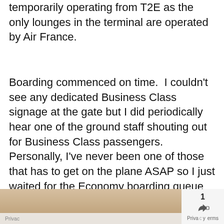temporarily operating from T2E as the only lounges in the terminal are operated by Air France.
Boarding commenced on time.  I couldn't see any dedicated Business Class signage at the gate but I did periodically hear one of the ground staff shouting out for Business Class passengers.  Personally, I've never been one of those that has to get on the plane ASAP so I just waited for the Economy boarding queue to reduce and joined it towards the end.  I was greeted at the door of the A350 by two crew.  One in corporate Ethiopian Airlines uniform and one in traditional Ethiopian dress.
[Figure (photo): Bottom strip showing a partial photo of what appears to be a table setting or food/drink on a plane, with a UI overlay showing a heart/favourite button and share button with count of 1, and a privacy bar.]